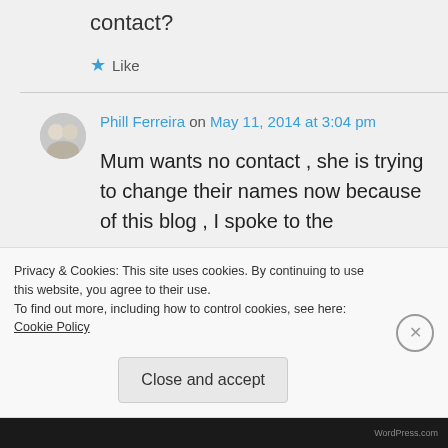contact?
★ Like
Phill Ferreira on May 11, 2014 at 3:04 pm
Mum wants no contact , she is trying to change their names now because of this blog , I spoke to the
Privacy & Cookies: This site uses cookies. By continuing to use this website, you agree to their use.
To find out more, including how to control cookies, see here: Cookie Policy
Close and accept